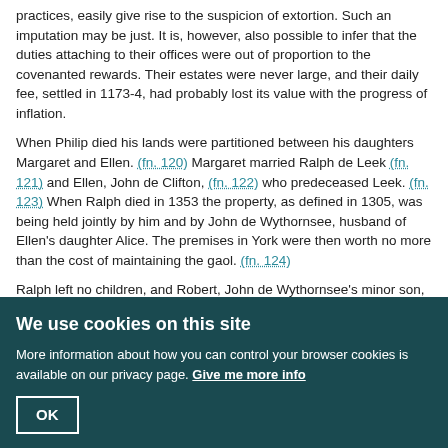practices, easily give rise to the suspicion of extortion. Such an imputation may be just. It is, however, also possible to infer that the duties attaching to their offices were out of proportion to the covenanted rewards. Their estates were never large, and their daily fee, settled in 1173-4, had probably lost its value with the progress of inflation.
When Philip died his lands were partitioned between his daughters Margaret and Ellen. (fn. 120) Margaret married Ralph de Leek (fn. 121) and Ellen, John de Clifton, (fn. 122) who predeceased Leek. (fn. 123) When Ralph died in 1353 the property, as defined in 1305, was being held jointly by him and by John de Wythornsee, husband of Ellen's daughter Alice. The premises in York were then worth no more than the cost of maintaining the gaol. (fn. 124)
Ralph left no children, and Robert, John de Wythornsee's minor son, became heir to Margaret's purparty and presumptive heir to Ellen's also. The property is next heard of in 1369 when John de Thornton died seised of both purparties in right of his wife Alice. (fn. 125) It seems clear from this that Robert never succeeded to his inheritance. John de Thornton like John Wythornsee married an Alice, so perhaps the two are the same person. If not the descent of the lands upon John de Thornton remains unexplained. John was succeeded by
We use cookies on this site
More information about how you can control your browser cookies is available on our privacy page. Give me more info
OK